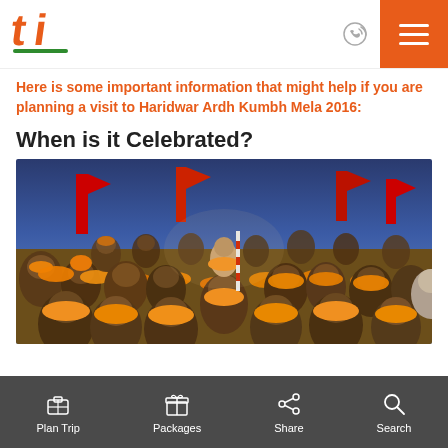[Figure (logo): Travel website logo with stylized 'ti' letters in orange and green colors]
Here is some important information that might help if you are planning a visit to Haridwar Ardh Kumbh Mela 2016:
When is it Celebrated?
[Figure (photo): Large crowd of Hindu sadhus and devotees wearing orange marigold garlands at Kumbh Mela, with a child being carried on shoulders, red flags in background, blue dusk sky]
Plan Trip | Packages | Share | Search